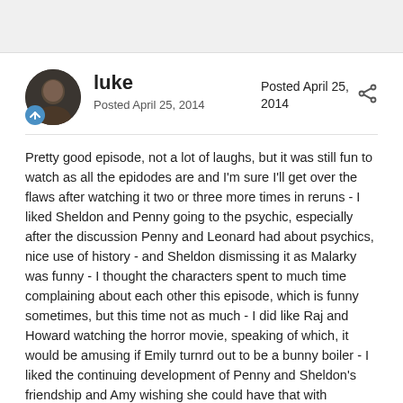luke
Posted April 25, 2014
Posted April 25, 2014
Pretty good episode, not a lot of laughs, but it was still fun to watch as all the epidodes are and I'm sure I'll get over the flaws after watching it two or three more times in reruns - I liked Sheldon and Penny going to the psychic, especially after the discussion Penny and Leonard had about psychics, nice use of history - and Sheldon dismissing it as Malarky was funny - I thought the characters spent to much time complaining about each other this episode, which is funny sometimes, but this time not as much - I did like Raj and Howard watching the horror movie, speaking of which, it would be amusing if Emily turnrd out to be a bunny boiler - I liked the continuing development of Penny and Sheldon's friendship and Amy wishing she could have that with Sheldon - Amy should at least know by now that she would have gotten a lot farther with Sheldon